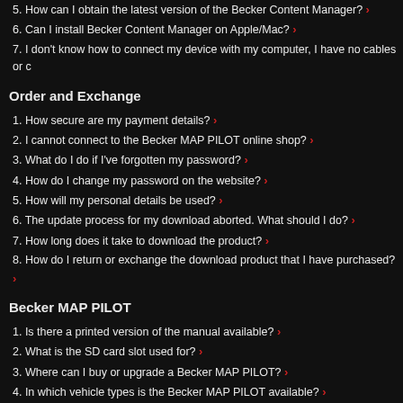5. How can I obtain the latest version of the Becker Content Manager? ›
6. Can I install Becker Content Manager on Apple/Mac? ›
7. I don't know how to connect my device with my computer, I have no cables or c…
Order and Exchange
1. How secure are my payment details? ›
2. I cannot connect to the Becker MAP PILOT online shop? ›
3. What do I do if I've forgotten my password? ›
4. How do I change my password on the website? ›
5. How will my personal details be used? ›
6. The update process for my download aborted. What should I do? ›
7. How long does it take to download the product? ›
8. How do I return or exchange the download product that I have purchased? ›
Becker MAP PILOT
1. Is there a printed version of the manual available? ›
2. What is the SD card slot used for? ›
3. Where can I buy or upgrade a Becker MAP PILOT? ›
4. In which vehicle types is the Becker MAP PILOT available? ›
5. I have software or hardware problems with my navigation device. How should I…
6. My Navigation System does not always display what I know is the shortest/faste…
7. The navigation software/map/other content has been deleted or become corrup…
8. How can I ensure that there is enough free space on my device/SD card for the…
9. Why aren't all TMC messages read out? ›
10. What changes do I need to make to the TMC settings in border areas? ›
11. How do I subscribe to the newsletter? ›